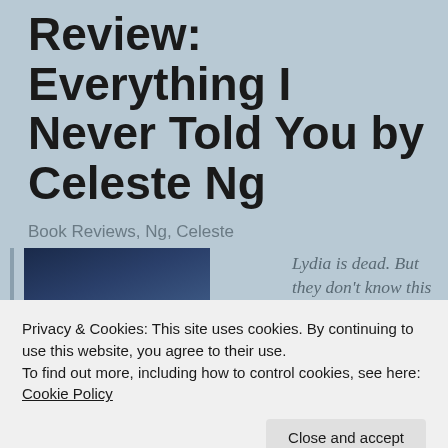Review: Everything I Never Told You by Celeste Ng
Book Reviews, Ng, Celeste
[Figure (photo): Book cover of 'Everything I Never Told You' showing a dark blue gradient background with a white label reading 'EVERYTHING' in bold lettering]
Lydia is dead. But they don't know this yet.
Privacy & Cookies: This site uses cookies. By continuing to use this website, you agree to their use.
To find out more, including how to control cookies, see here: Cookie Policy
Close and accept
her twitter and